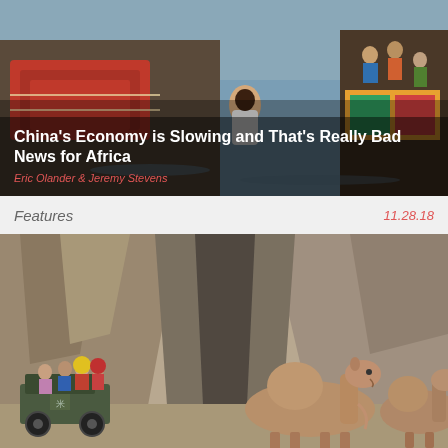[Figure (photo): Photo of a person in a white shirt on a dock/boat with cargo and water in the background, related to China-Africa trade story]
China’s Economy is Slowing and That’s Really Bad News for Africa
Eric Olander & Jeremy Stevens
Features
11.28.18
[Figure (photo): Photo of people on a vehicle/tractor and two camels in a rocky desert canyon landscape in Xinjiang, China]
Beijing’s Long Struggle to Control Xinjiang’s Mineral